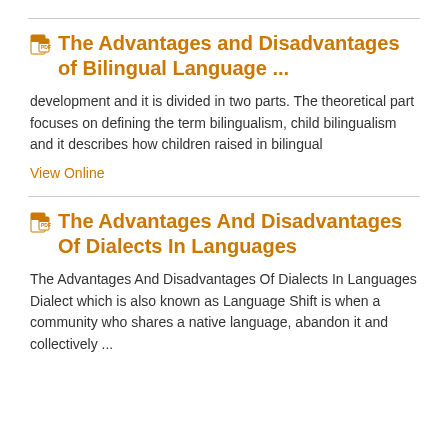The Advantages and Disadvantages of Bilingual Language ...
development and it is divided in two parts. The theoretical part focuses on defining the term bilingualism, child bilingualism and it describes how children raised in bilingual
View Online
The Advantages And Disadvantages Of Dialects In Languages
The Advantages And Disadvantages Of Dialects In Languages Dialect which is also known as Language Shift is when a community who shares a native language, abandon it and collectively ...